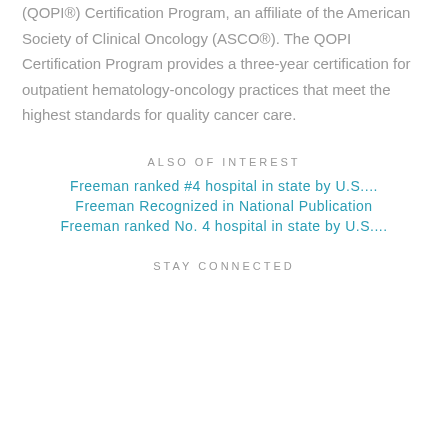(QOPI®) Certification Program, an affiliate of the American Society of Clinical Oncology (ASCO®). The QOPI Certification Program provides a three-year certification for outpatient hematology-oncology practices that meet the highest standards for quality cancer care.
ALSO OF INTEREST
Freeman ranked #4 hospital in state by U.S....
Freeman Recognized in National Publication
Freeman ranked No. 4 hospital in state by U.S....
STAY CONNECTED